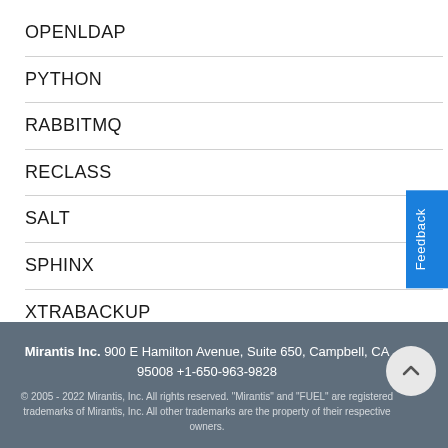OPENLDAP
PYTHON
RABBITMQ
RECLASS
SALT
SPHINX
XTRABACKUP
Mirantis Inc. 900 E Hamilton Avenue, Suite 650, Campbell, CA 95008 +1-650-963-9828
© 2005 - 2022 Mirantis, Inc. All rights reserved. "Mirantis" and "FUEL" are registered trademarks of Mirantis, Inc. All other trademarks are the property of their respective owners.